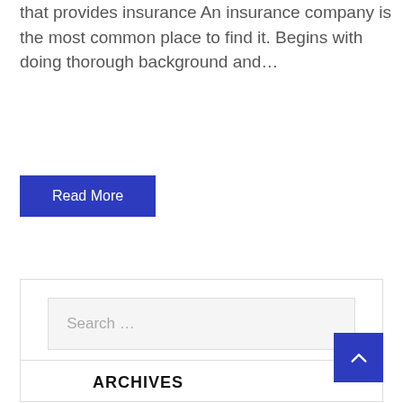that provides insurance An insurance company is the most common place to find it. Begins with doing thorough background and…
Read More
Search …
ARCHIVES